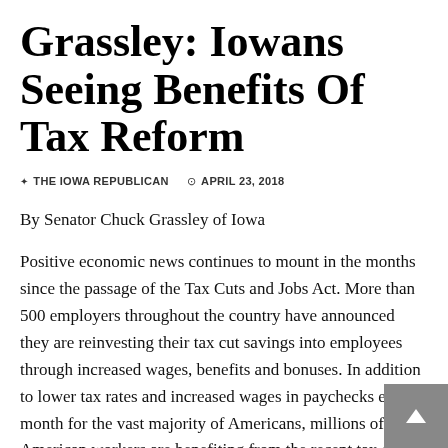Grassley: Iowans Seeing Benefits Of Tax Reform
THE IOWA REPUBLICAN  APRIL 23, 2018
By Senator Chuck Grassley of Iowa
Positive economic news continues to mount in the months since the passage of the Tax Cuts and Jobs Act. More than 500 employers throughout the country have announced they are reinvesting their tax cut savings into employees through increased wages, benefits and bonuses. In addition to lower tax rates and increased wages in paychecks every month for the vast majority of Americans, millions of American workers are benefiting from the recent tax cuts